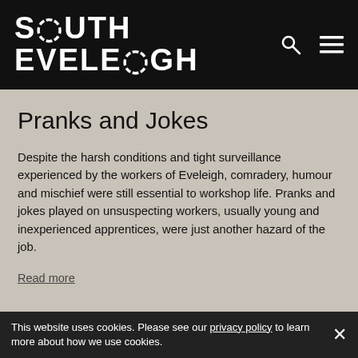SOUTH EVELEIGH
Pranks and Jokes
Despite the harsh conditions and tight surveillance experienced by the workers of Eveleigh, comradery, humour and mischief were still essential to workshop life. Pranks and jokes played on unsuspecting workers, usually young and inexperienced apprentices, were just another hazard of the job.
Read more
This website uses cookies. Please see our privacy policy to learn more about how we use cookies.